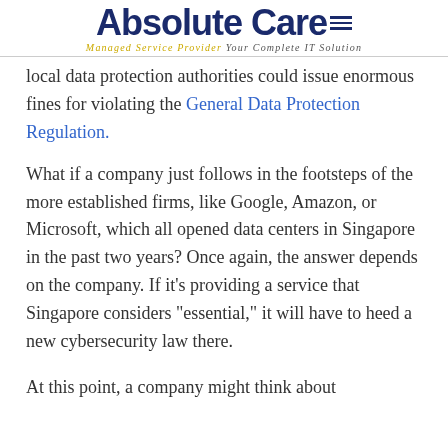Absolute Care — Managed Service Provider Your Complete IT Solution
local data protection authorities could issue enormous fines for violating the General Data Protection Regulation.
What if a company just follows in the footsteps of the more established firms, like Google, Amazon, or Microsoft, which all opened data centers in Singapore in the past two years? Once again, the answer depends on the company. If it’s providing a service that Singapore considers “essential,” it will have to heed a new cybersecurity law there.
At this point, a company might think about